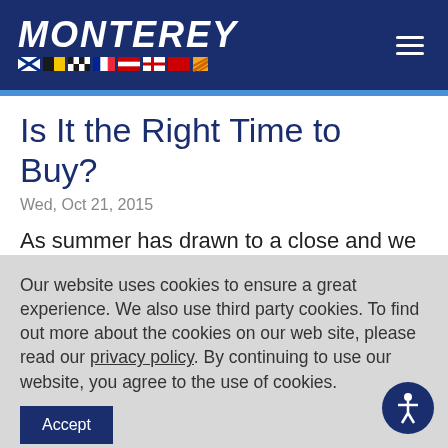MONTEREY
Is It the Right Time to Buy?
Wed, Oct 21, 2015
As summer has drawn to a close and we reflect fondly on the sunny afternoons and endless days spend out on the water, it can
Our website uses cookies to ensure a great experience. We also use third party cookies. To find out more about the cookies on our web site, please read our privacy policy. By continuing to use our website, you agree to the use of cookies.